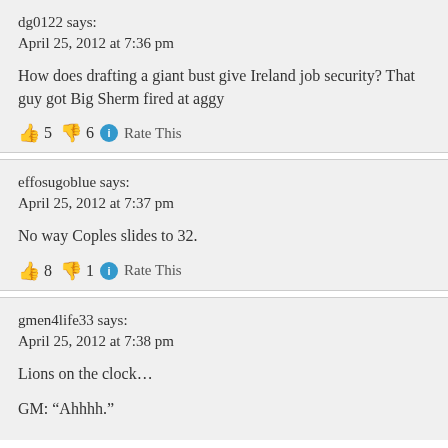dg0122 says:
April 25, 2012 at 7:36 pm
How does drafting a giant bust give Ireland job security? That guy got Big Sherm fired at aggy
👍 5 👎 6 ℹ Rate This
effosugoblue says:
April 25, 2012 at 7:37 pm
No way Coples slides to 32.
👍 8 👎 1 ℹ Rate This
gmen4life33 says:
April 25, 2012 at 7:38 pm
Lions on the clock…
GM: “Ahhhh.”